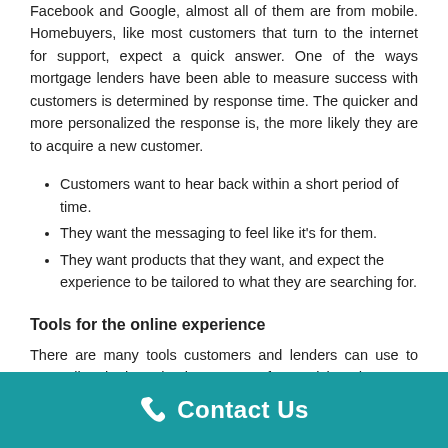Facebook and Google, almost all of them are from mobile. Homebuyers, like most customers that turn to the internet for support, expect a quick answer. One of the ways mortgage lenders have been able to measure success with customers is determined by response time. The quicker and more personalized the response is, the more likely they are to acquire a new customer.
Customers want to hear back within a short period of time.
They want the messaging to feel like it's for them.
They want products that they want, and expect the experience to be tailored to what they are searching for.
Tools for the online experience
There are many tools customers and lenders can use to streamline the homebuying process, for a quick and
Contact Us